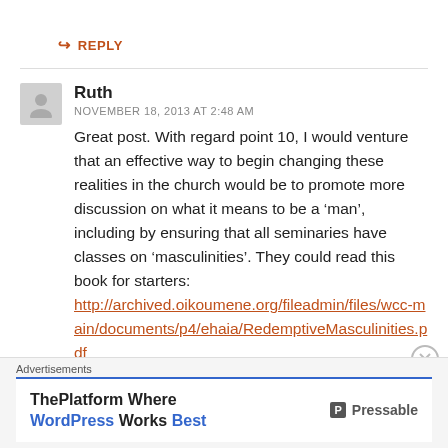↳ REPLY
Ruth
NOVEMBER 18, 2013 AT 2:48 AM
Great post. With regard point 10, I would venture that an effective way to begin changing these realities in the church would be to promote more discussion on what it means to be a 'man', including by ensuring that all seminaries have classes on 'masculinities'. They could read this book for starters: http://archived.oikoumene.org/fileadmin/files/wcc-main/documents/p4/ehaia/RedemptiveMasculinities.pdf
Advertisements
ThePlatform Where WordPress Works Best — Pressable